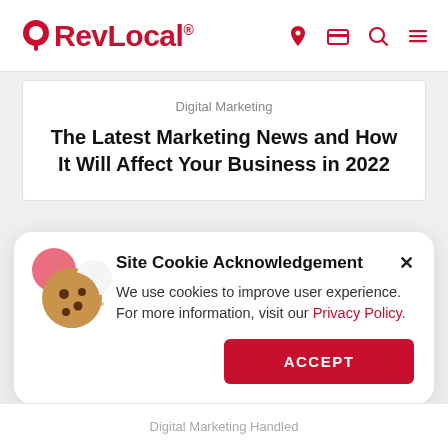RevLocal®
Digital Marketing
The Latest Marketing News and How It Will Affect Your Business in 2022
[Figure (infographic): Site Cookie Acknowledgement banner with cookie illustration, text about using cookies to improve user experience with a Privacy Policy link, and an ACCEPT button]
Digital Marketing Handled